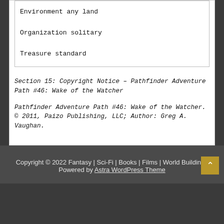Environment any land
Organization solitary
Treasure standard
Section 15: Copyright Notice – Pathfinder Adventure Path #46: Wake of the Watcher
Pathfinder Adventure Path #46: Wake of the Watcher. © 2011, Paizo Publishing, LLC; Author: Greg A. Vaughan.
Copyright © 2022 Fantasy | Sci-Fi | Books | Films | World Building | Powered by Astra WordPress Theme